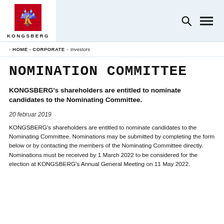KONGSBERG
> HOME - CORPORATE  <  Investors
NOMINATION COMMITTEE
KONGSBERG's shareholders are entitled to nominate candidates to the Nominating Committee.
20 februar 2019
KONGSBERG's shareholders are entitled to nominate candidates to the Nominating Committee. Nominations may be submitted by completing the form below or by contacting the members of the Nominating Committee directly. Nominations must be received by 1 March 2022 to be considered for the election at KONGSBERG's Annual General Meeting on 11 May 2022.